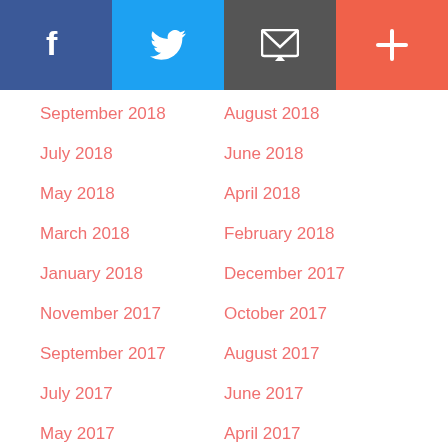[Figure (other): Social media share bar with Facebook (blue), Twitter (light blue), Email (dark gray), and Plus/Add (red-orange) buttons]
September 2018
August 2018
July 2018
June 2018
May 2018
April 2018
March 2018
February 2018
January 2018
December 2017
November 2017
October 2017
September 2017
August 2017
July 2017
June 2017
May 2017
April 2017
March 2017
February 2017
Get notified of new posts via email
Email Address